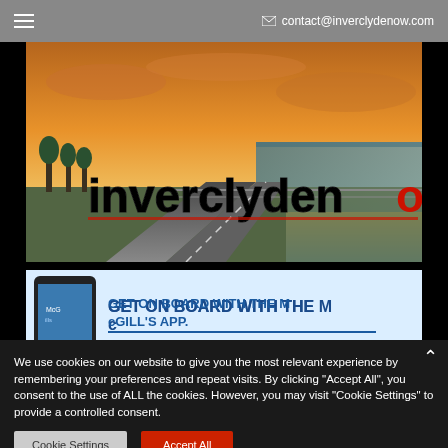☰   ✉ contact@inverclydenow.com
[Figure (photo): inverclydenow website hero banner showing a road alongside a river at sunset with the 'inverclydenow' logo in black and red text overlaid]
[Figure (photo): McGill's bus app advertisement banner: phone showing McGill's app on left, text 'GET ON BOARD WITH THE McGILL'S APP.' in bold blue on light blue background]
We use cookies on our website to give you the most relevant experience by remembering your preferences and repeat visits. By clicking "Accept All", you consent to the use of ALL the cookies. However, you may visit "Cookie Settings" to provide a controlled consent.
Cookie Settings   Accept All